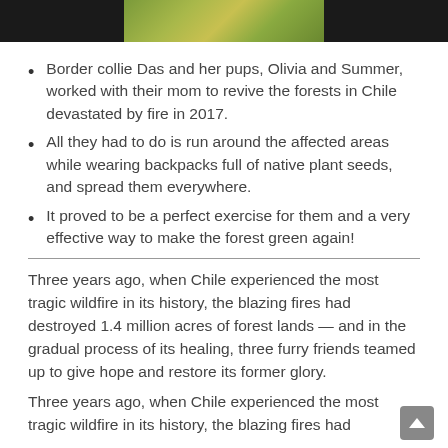[Figure (photo): Partial photo of green forest/vegetation against dark background, showing top strip only]
Border collie Das and her pups, Olivia and Summer, worked with their mom to revive the forests in Chile devastated by fire in 2017.
All they had to do is run around the affected areas while wearing backpacks full of native plant seeds, and spread them everywhere.
It proved to be a perfect exercise for them and a very effective way to make the forest green again!
Three years ago, when Chile experienced the most tragic wildfire in its history, the blazing fires had destroyed 1.4 million acres of forest lands — and in the gradual process of its healing, three furry friends teamed up to give hope and restore its former glory.
Three years ago, when Chile experienced the most tragic wildfire in its history, the blazing fires had destroyed 1.4 million acres of forest lands — and in the gradual process of its healing, three furry friends teamed up to give hope and restore its former glory.